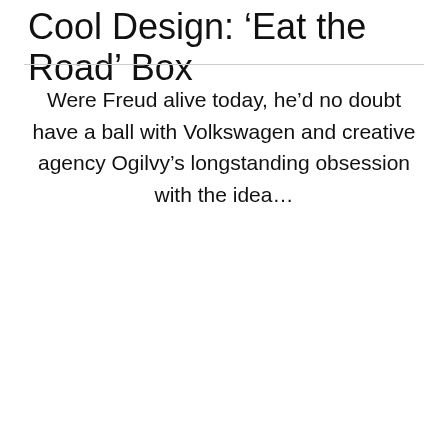Cool Design: 'Eat the Road' Box
Were Freud alive today, he'd no doubt have a ball with Volkswagen and creative agency Ogilvy's longstanding obsession with the idea…